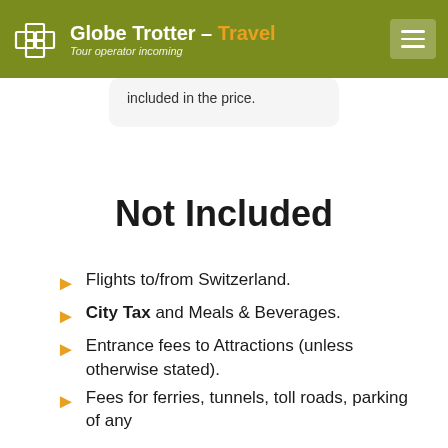Globe Trotter – Travel | Tour operator incoming
included in the price.
Not Included
Flights to/from Switzerland.
City Tax and Meals & Beverages.
Entrance fees to Attractions (unless otherwise stated).
Fees for ferries, tunnels, toll roads, parking of any